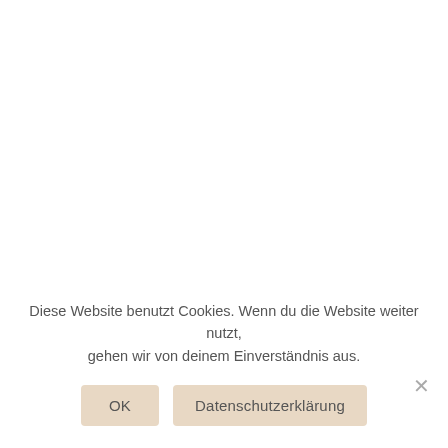Diese Website benutzt Cookies. Wenn du die Website weiter nutzt, gehen wir von deinem Einverständnis aus.
OK
Datenschutzerklärung